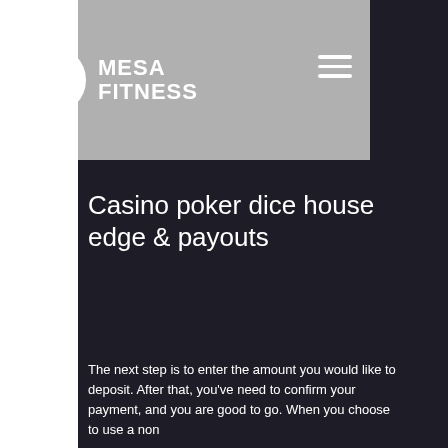MESA FITNESS
Casino poker dice house edge & payouts
The next step is to enter the amount you would like to deposit. After that, you've need to confirm your payment, and you are good to go. When you choose to use a non